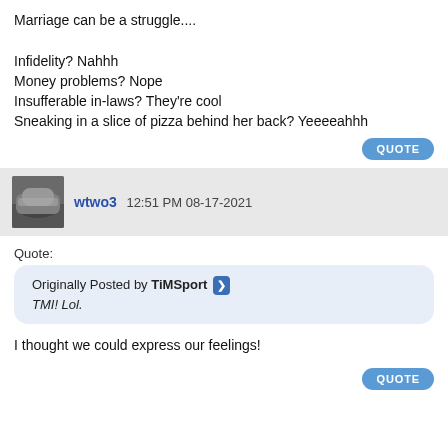Marriage can be a struggle....

Infidelity? Nahhh
Money problems? Nope
Insufferable in-laws? They're cool
Sneaking in a slice of pizza behind her back? Yeeeeahhh
QUOTE
wtwo3 12:51 PM 08-17-2021
Quote:
Originally Posted by TiMSport
TMI! Lol.
I thought we could express our feelings!
QUOTE